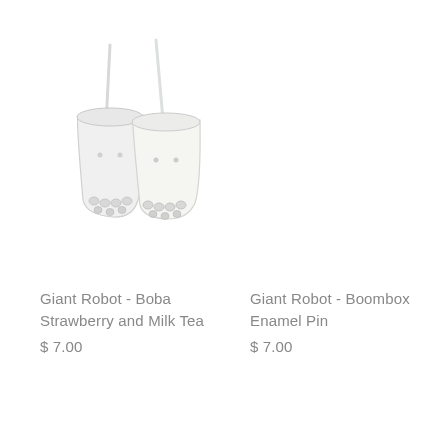[Figure (illustration): Faint line drawing illustration of two boba milk tea cups with straws and tapioca pearls at the bottom, very light pale colors]
Giant Robot - Boba Strawberry and Milk Tea
$ 7.00
Giant Robot - Boombox Enamel Pin
$ 7.00